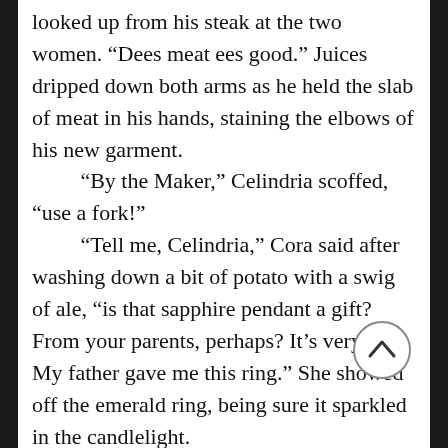looked up from his steak at the two women. “Dees meat ees good.” Juices dripped down both arms as he held the slab of meat in his hands, staining the elbows of his new garment.
“By the Maker,” Celindria scoffed, “use a fork!”
“Tell me, Celindria,” Cora said after washing down a bit of potato with a swig of ale, “is that sapphire pendant a gift? From your parents, perhaps? It’s very nice. My father gave me this ring.” She showed off the emerald ring, being sure it sparkled in the candlelight.
Celindria looked down at her pendant with sadness. “I suppose it’s a gift, but not from my parents. My